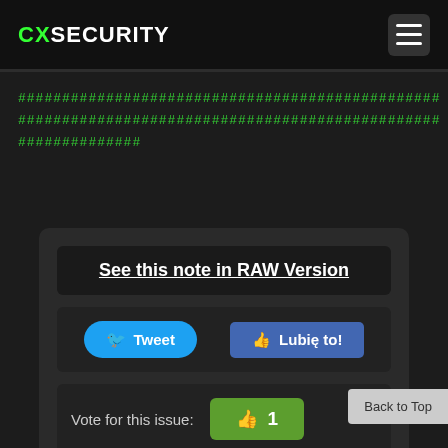CXSECURITY
################################################
################################################
##############
See this note in RAW Version
Tweet
Lubię to!
Vote for this issue: 1 (up) 0 (down) 100%
Back to Top